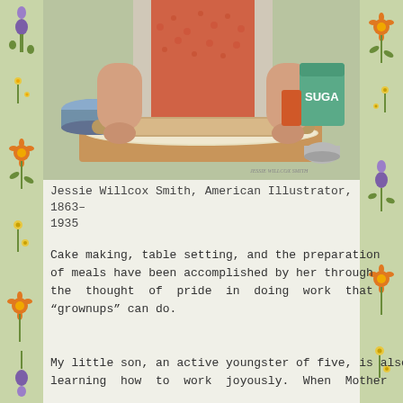[Figure (illustration): Painting by Jessie Willcox Smith showing a child rolling dough on a wooden board, with a mixing bowl, rolling pin, sugar canister and small bowl visible on a kitchen counter. The child wears a floral dress and orange apron.]
Jessie Willcox Smith, American Illustrator, 1863–1935
Cake making, table setting, and the preparation of meals have been accomplished by her through the thought of pride in doing work that “grownups” can do.
My little son, an active youngster of five, is also learning how to work joyously. When Mother